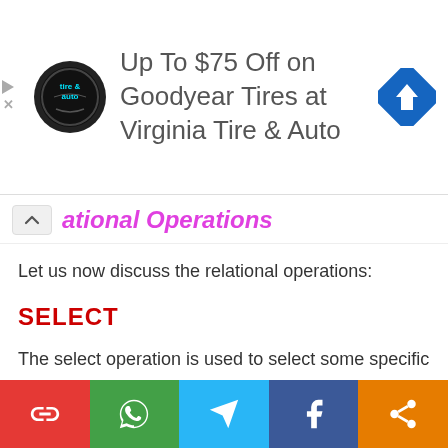[Figure (illustration): Advertisement banner: Virginia Tire & Auto logo, text 'Up To $75 Off on Goodyear Tires at Virginia Tire & Auto', blue navigation diamond icon on right]
ational Operations
Let us now discuss the relational operations:
SELECT
The select operation is used to select some specific records from the databse based on some criteria. This is a unary operation mathematically denoted as σ
Syntax: